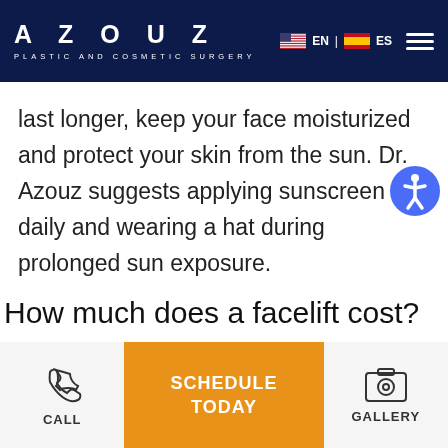AZOUZ PLASTIC AND COSMETIC SURGERY
last longer, keep your face moisturized and protect your skin from the sun. Dr. Azouz suggests applying sunscreen daily and wearing a hat during prolonged sun exposure.
How much does a facelift cost?
The cost of a facelift at Dr. Pri...
[Figure (other): Accessibility icon — blue circle with white person symbol]
CALL | SCHEDULE TODAY | GALLERY